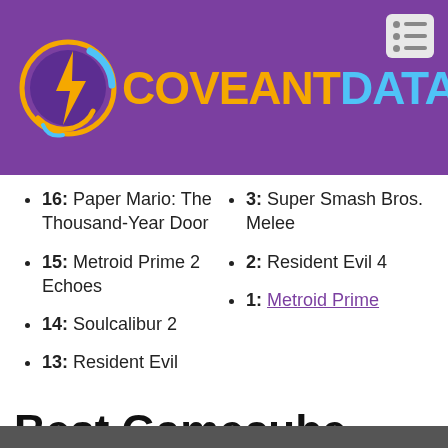[Figure (logo): Coveant Data logo with orange/blue circular emblem and orange/blue brand name on purple background]
16: Paper Mario: The Thousand-Year Door
15: Metroid Prime 2 Echoes
14: Soulcalibur 2
13: Resident Evil
3: Super Smash Bros. Melee
2: Resident Evil 4
1: Metroid Prime
Best Gamecube Games Of All Time